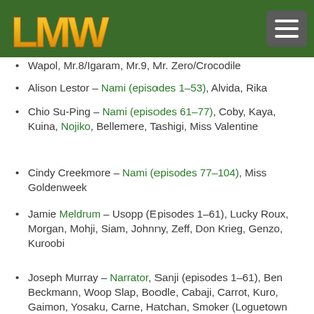LMW logo and navigation menu
Wapol, Mr.8/Igaram, Mr.9, Mr. Zero/Crocodile
Alison Lestor – Nami (episodes 1–53), Alvida, Rika
Chio Su-Ping – Nami (episodes 61–77), Coby, Kaya, Kuina, Nojiko, Bellemere, Tashigi, Miss Valentine
Cindy Creekmore – Nami (episodes 77–104), Miss Goldenweek
Jamie Meldrum – Usopp (Episodes 1–61), Lucky Roux, Morgan, Mohji, Siam, Johnny, Zeff, Don Krieg, Genzo, Kuroobi
Joseph Murray – Narrator, Sanji (episodes 1–61), Ben Beckmann, Woop Slap, Boodle, Cabaji, Carrot, Kuro, Gaimon, Yosaku, Carne, Hatchan, Smoker (Loguetown Arc)
Paul Pistore – Sanji (episodes 62–104), Smoker (Alabasta), Kuromarimo, Hiriluk, Toto